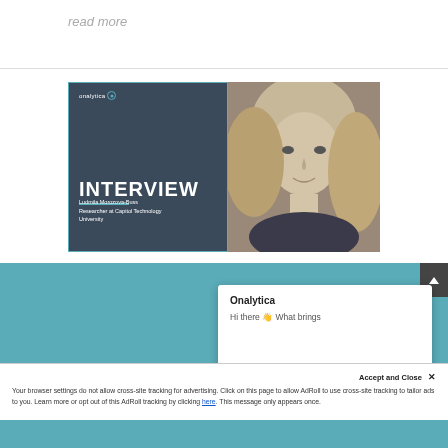read more
[Figure (illustration): Onalytica interview card featuring Ludmila Morozova-Buss, Researcher at Capitol Technology University, with a portrait photo on the right]
At Onalytica, we take your privacy very seriously. Therefore we would like to inform you what data we collect, [with] your personal information. To learn [more] [ie] Policy. If you have any questio... Hi there 👋 What brings
Onalytica
Hi there 👋 What brings
Accept and Close ✕
Your browser settings do not allow cross-site tracking for advertising. Click on this page to allow AdRoll to use cross-site tracking to tailor ads to you. Learn more or opt out of this AdRoll tracking by clicking here. This message only appears once.